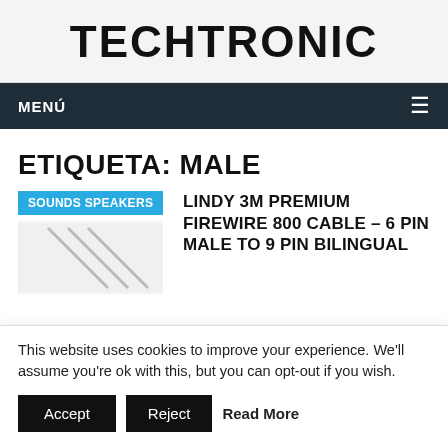TECHTRONIC
MENÚ
ETIQUETA: MALE
SOUNDS SPEAKERS
LINDY 3M PREMIUM FIREWIRE 800 CABLE – 6 PIN MALE TO 9 PIN BILINGUAL
This website uses cookies to improve your experience. We'll assume you're ok with this, but you can opt-out if you wish.
Accept   Reject   Read More